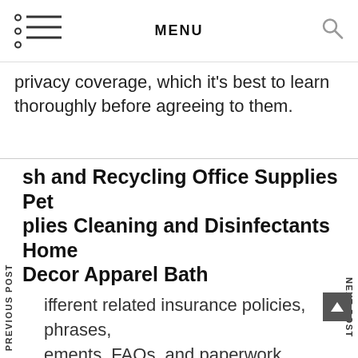MENU
privacy coverage, which it's best to learn thoroughly before agreeing to them.
sh and Recycling Office Supplies Pet plies Cleaning and Disinfectants Home Decor Apparel Bath
ifferent related insurance policies, phrases, ements, FAQs, and paperwork posted on the site, including our Customer Service policies
The mix of expertise and enterprise innovation is revolutionizing how organizations function, compete and deliver companies. The vacationer workpla on the plaza, can help set you up with excursion. the realm